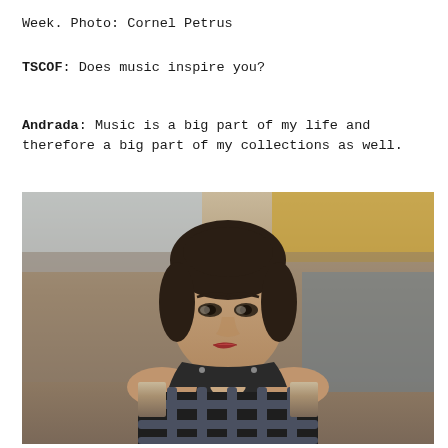Week. Photo: Cornel Petrus
TSCOF: Does music inspire you?
Andrada: Music is a big part of my life and therefore a big part of my collections as well.
[Figure (photo): A young female model with her hair pulled back, wearing a black structured cage-style top/dress with grey straps, photographed outdoors with a blurred background showing stone architecture and construction equipment.]